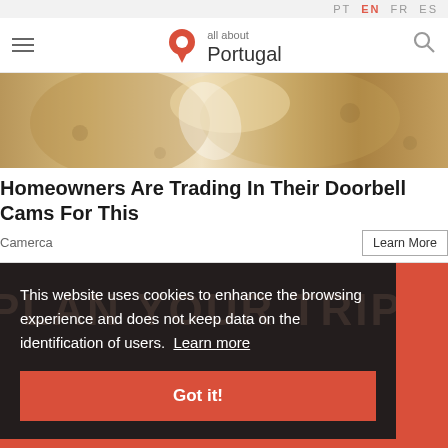PT EN FR ES
[Figure (logo): All About Portugal logo with red map pin icon]
[Figure (photo): Close-up photo of bread loaves]
Homeowners Are Trading In Their Doorbell Cams For This
Camerca
Learn More
This website uses cookies to enhance the browsing experience and does not keep data on the identification of users. Learn more
Got it!
any type of place